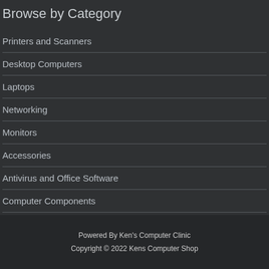Browse by Category
Printers and Scanners
Desktop Computers
Laptops
Networking
Monitors
Accessories
Antivirus and Office Software
Computer Components
UPS Power Supply
Powered By Ken's Computer Clinic
Copyright © 2022 Kens Computer Shop